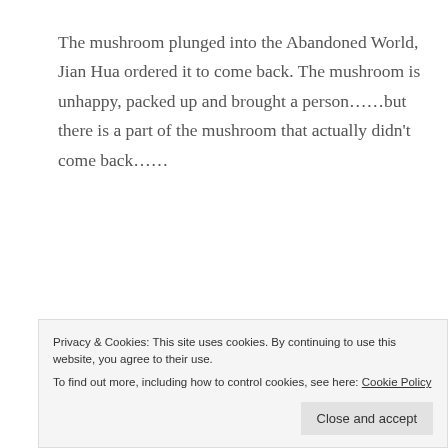The mushroom plunged into the Abandoned World, Jian Hua ordered it to come back. The mushroom is unhappy, packed up and brought a person……but there is a part of the mushroom that actually didn't come back……
Previous Chapter 】Index【 Next Chapter
« STB Chapter 38: Haunted
STB Chapter 40: Do Your Best »»
Privacy & Cookies: This site uses cookies. By continuing to use this website, you agree to their use.
To find out more, including how to control cookies, see here: Cookie Policy